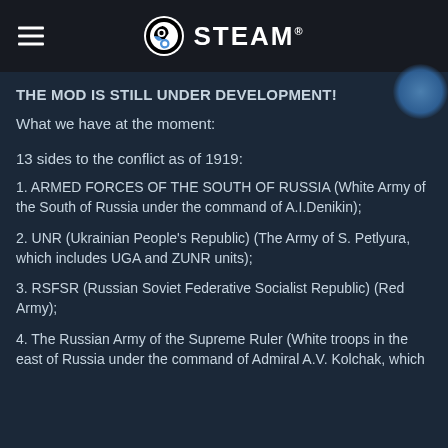STEAM
THE MOD IS STILL UNDER DEVELOPMENT!
What we have at the moment:
13 sides to the conflict as of 1919:
1. ARMED FORCES OF THE SOUTH OF RUSSIA (White Army of the South of Russia under the command of A.I.Denikin);
2. UNR (Ukrainian People's Republic) (The Army of S. Petlyura, which includes UGA and ZUNR units);
3. RSFSR (Russian Soviet Federative Socialist Republic) (Red Army);
4. The Russian Army of the Supreme Ruler (White troops in the east of Russia under the command of Admiral A.V. Kolchak, which